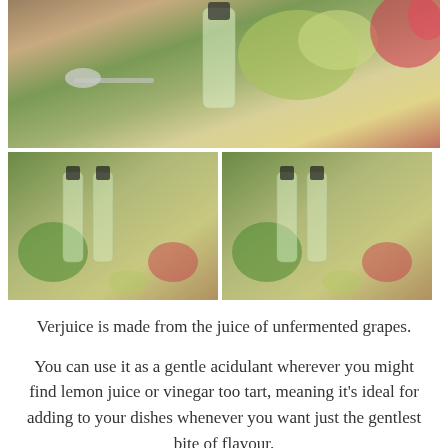[Figure (photo): Main product photo showing a bottle of verjuice with green grapes, silverware, and a red flower on a wooden surface]
[Figure (photo): Thumbnail 1: Two bottles of verjuice with green grapes, herbs, and a red flower]
[Figure (photo): Thumbnail 2: Two bottles of verjuice with green grapes, herbs, and a red flower]
Verjuice is made from the juice of unfermented grapes.
You can use it as a gentle acidulant wherever you might find lemon juice or vinegar too tart, meaning it’s ideal for adding to your dishes whenever you want just the gentlest bite of flavour.
It adds a wonderful ‘brightness’ to food. This handy 750ml bottle is ideal for stocking up your pantry.
$16.95